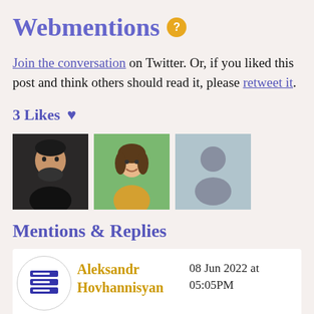Webmentions ?
Join the conversation on Twitter. Or, if you liked this post and think others should read it, please retweet it.
3 Likes ♥
[Figure (photo): Three avatar photos of users who liked the post]
Mentions & Replies
Aleksandr Hovhannisyan  08 Jun 2022 at 05:05PM